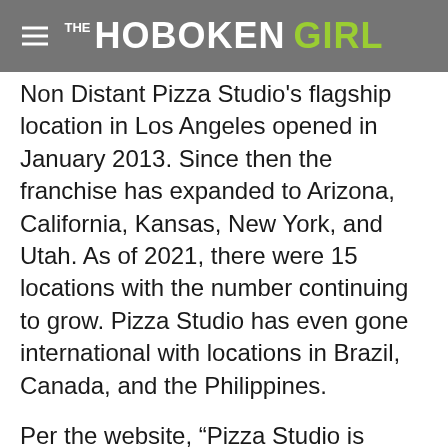THE HOBOKEN GIRL
Non Distant Pizza Studio's flagship location in Los Angeles opened in January 2013. Since then the franchise has expanded to Arizona, California, Kansas, New York, and Utah. As of 2021, there were 15 locations with the number continuing to grow. Pizza Studio has even gone international with locations in Brazil, Canada, and the Philippines.
Per the website, “Pizza Studio is leading the charge in the fast-casual pizza segment…To us, it’s about more than our smiling pizza-filled faces. It’s about setting a new standard for fast, premium pizza, and bringing love back into the equation.”